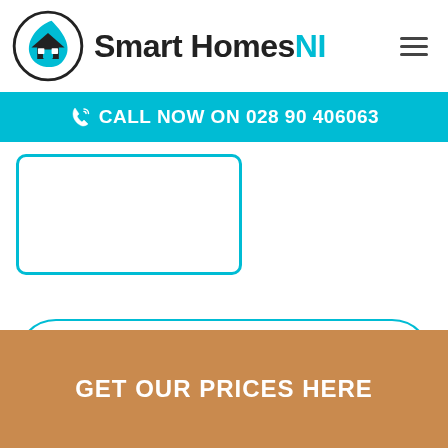[Figure (logo): Smart Homes NI logo with circular house/water drop icon and brand name text]
CALL NOW ON 028 90 406063
[Figure (illustration): Teal-bordered card/image placeholder]
LEARN MORE ABOUT OUR COTTAGE DOORS
Ask us
GET OUR PRICES HERE